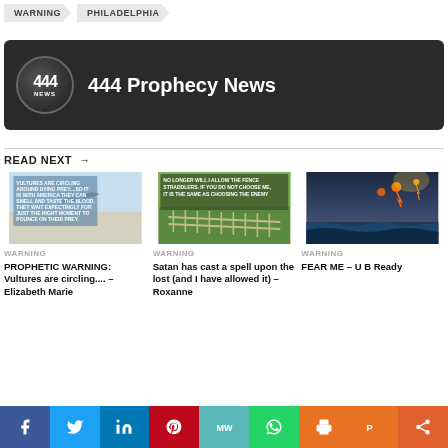WARNING  PHILADELPHIA
[Figure (logo): 444 Prophecy News dark banner with circular logo showing '444 NEWS']
444 Prophecy News
READ NEXT →
[Figure (photo): Image with text about vultures circling dying prey and America]
WARNING
PROPHETIC WARNING: Vultures are circling.... – Elizabeth Marie
[Figure (photo): Image with text: NO LONGER WILL I ALLOW THE FENCE STRADDLERS. IF YOU DO NOT CHOOSE ME, IT IS THE SAME AS CHOOSING THE ENEMY]
WARNING
Satan has cast a spell upon the lost (and I have allowed it) – Roxanne
[Figure (photo): Dramatic sky with meteors/fire and stormy ocean waves]
WARNING
FEAR ME – U B Ready
Social share bar: Facebook, Twitter, LinkedIn, Pinterest, MeWe, WhatsApp, Print, Parler, Share